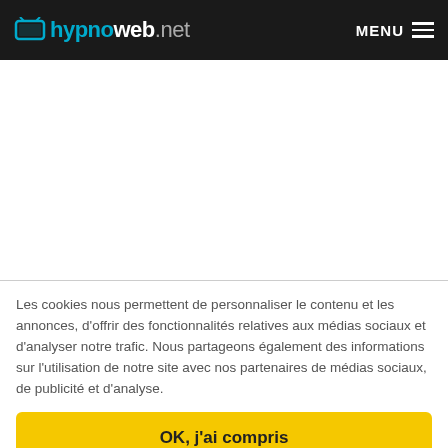hypnoweb.net  MENU
Les cookies nous permettent de personnaliser le contenu et les annonces, d'offrir des fonctionnalités relatives aux médias sociaux et d'analyser notre trafic. Nous partageons également des informations sur l'utilisation de notre site avec nos partenaires de médias sociaux, de publicité et d'analyse.
OK, j'ai compris